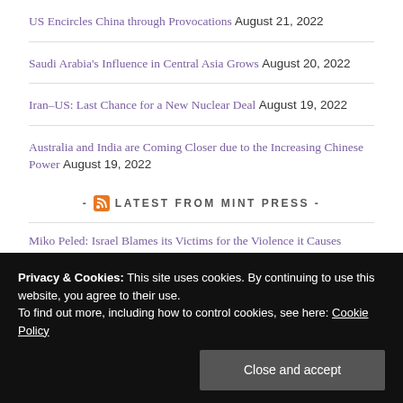US Encircles China through Provocations August 21, 2022
Saudi Arabia's Influence in Central Asia Grows August 20, 2022
Iran–US: Last Chance for a New Nuclear Deal August 19, 2022
Australia and India are Coming Closer due to the Increasing Chinese Power August 19, 2022
- LATEST FROM MINT PRESS -
Miko Peled: Israel Blames its Victims for the Violence it Causes
Privacy & Cookies: This site uses cookies. By continuing to use this website, you agree to their use.
To find out more, including how to control cookies, see here: Cookie Policy